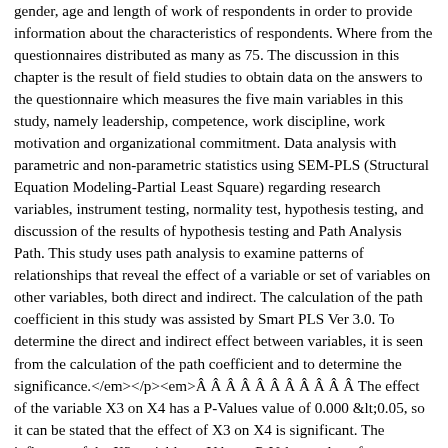gender, age and length of work of respondents in order to provide information about the characteristics of respondents. Where from the questionnaires distributed as many as 75. The discussion in this chapter is the result of field studies to obtain data on the answers to the questionnaire which measures the five main variables in this study, namely leadership, competence, work discipline, work motivation and organizational commitment. Data analysis with parametric and non-parametric statistics using SEM-PLS (Structural Equation Modeling-Partial Least Square) regarding research variables, instrument testing, normality test, hypothesis testing, and discussion of the results of hypothesis testing and Path Analysis Path. This study uses path analysis to examine patterns of relationships that reveal the effect of a variable or set of variables on other variables, both direct and indirect. The calculation of the path coefficient in this study was assisted by Smart PLS Ver 3.0. To determine the direct and indirect effect between variables, it is seen from the calculation of the path coefficient and to determine the significance.</em></p><em>Â Â Â Â Â Â Â Â Â Â Â The effect of the variable X3 on X4 has a P-Values value of 0.000 &lt;0.05, so it can be stated that the effect of X3 on X4 is significant. The influence of the X3 variable on Y has a P-Values value of 0.003&lt;0.05, so it can be stated that the effect of X3 on Y is significant. The influence of the X4 variable on Y has a P-Values value of 0.014 &lt;0.05, so it can be stated that the effect of X4 on Y is significant. The effect of variable X1 on X4 has a P-Values value of 0.000&lt;0.05, so it can be stated that the effect of